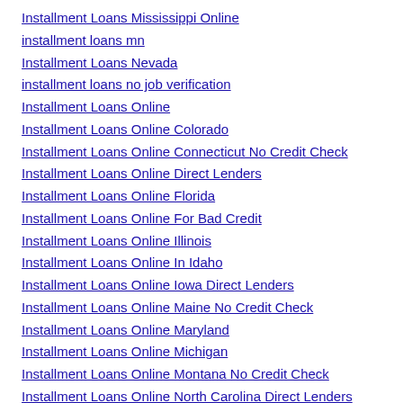Installment Loans Mississippi Online
installment loans mn
Installment Loans Nevada
installment loans no job verification
Installment Loans Online
Installment Loans Online Colorado
Installment Loans Online Connecticut No Credit Check
Installment Loans Online Direct Lenders
Installment Loans Online Florida
Installment Loans Online For Bad Credit
Installment Loans Online Illinois
Installment Loans Online In Idaho
Installment Loans Online Iowa Direct Lenders
Installment Loans Online Maine No Credit Check
Installment Loans Online Maryland
Installment Loans Online Michigan
Installment Loans Online Montana No Credit Check
Installment Loans Online North Carolina Direct Lenders
Installment Loans Online Ohio